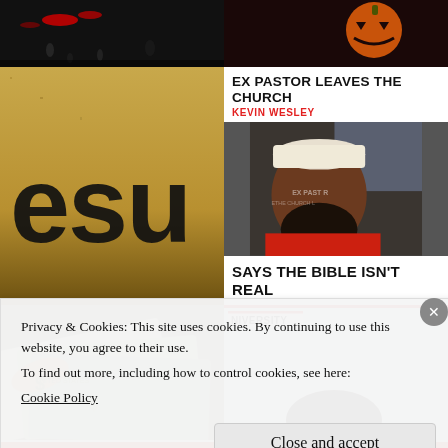[Figure (photo): Top-left: dark background with red logo/text and water droplets]
[Figure (photo): Top-right: dark background with orange Halloween pumpkin emoji]
[Figure (photo): Mid-left: textured stone/wood background with large letters 'esu' in black]
[Figure (screenshot): Mid-right card: Title 'EX PASTOR LEAVES THE CHURCH', subheader 'KEVIN WESLEY', photo of a bearded man in a car wearing a white cap and red shirt, caption 'SAYS THE BIBLE ISN'T REAL']
[Figure (photo): Bottom-left: hands holding US dollar bills]
[Figure (screenshot): Bottom-right: news screenshot with 'NIVERSITY' label and top of a person's head]
Privacy & Cookies: This site uses cookies. By continuing to use this website, you agree to their use.
To find out more, including how to control cookies, see here:
Cookie Policy
Close and accept